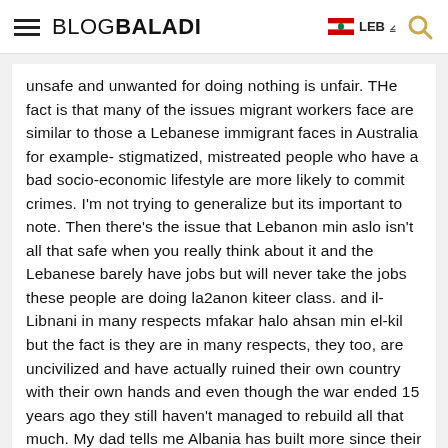BLOGBALADI | LEB
unsafe and unwanted for doing nothing is unfair. THe fact is that many of the issues migrant workers face are similar to those a Lebanese immigrant faces in Australia for example- stigmatized, mistreated people who have a bad socio-economic lifestyle are more likely to commit crimes. I'm not trying to generalize but its important to note. Then there's the issue that Lebanon min aslo isn't all that safe when you really think about it and the Lebanese barely have jobs but will never take the jobs these people are doing la2anon kiteer class. and il-Libnani in many respects mfakar halo ahsan min el-kil but the fact is they are in many respects, they too, are uncivilized and have actually ruined their own country with their own hands and even though the war ended 15 years ago they still haven't managed to rebuild all that much. My dad tells me Albania has built more since their war ended then we have… sad!
Also, racial profiling is problematic on many levels regardless of who does it but at least PRETEND you aren't racially profiling. I.e. in the US they search everyone and they may pull aside a white person but the indicators used to pull others out of the line are